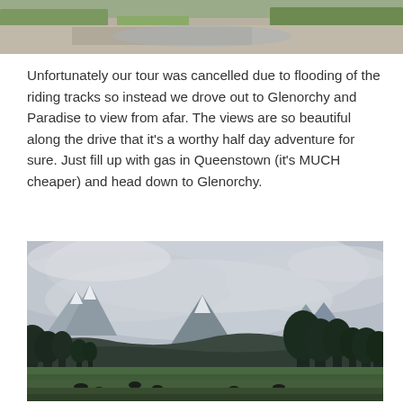[Figure (photo): Top portion of a landscape photo showing gravel/sand and green grass, partially cropped at the top of the page.]
Unfortunately our tour was cancelled due to flooding of the riding tracks so instead we drove out to Glenorchy and Paradise to view from afar. The views are so beautiful along the drive that it's a worthy half day adventure for sure. Just fill up with gas in Queenstown (it's MUCH cheaper) and head down to Glenorchy.
[Figure (photo): Landscape photograph of Glenorchy/Paradise area in New Zealand showing green fields in the foreground with dark silhouettes of trees, snow-capped mountains in the background, and a dramatic cloudy sky.]